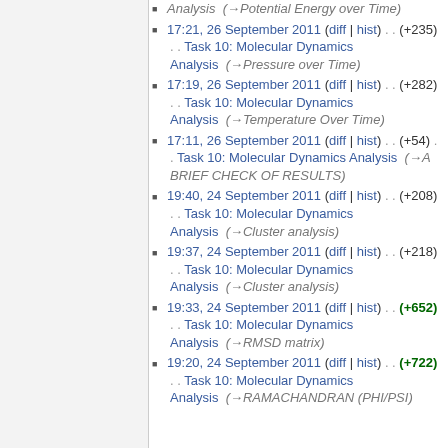(→Potential Energy over Time)
17:21, 26 September 2011 (diff | hist) . . (+235) . . Task 10: Molecular Dynamics Analysis (→Pressure over Time)
17:19, 26 September 2011 (diff | hist) . . (+282) . . Task 10: Molecular Dynamics Analysis (→Temperature Over Time)
17:11, 26 September 2011 (diff | hist) . . (+54) . . Task 10: Molecular Dynamics Analysis (→A BRIEF CHECK OF RESULTS)
19:40, 24 September 2011 (diff | hist) . . (+208) . . Task 10: Molecular Dynamics Analysis (→Cluster analysis)
19:37, 24 September 2011 (diff | hist) . . (+218) . . Task 10: Molecular Dynamics Analysis (→Cluster analysis)
19:33, 24 September 2011 (diff | hist) . . (+652) . . Task 10: Molecular Dynamics Analysis (→RMSD matrix)
19:20, 24 September 2011 (diff | hist) . . (+722) . . Task 10: Molecular Dynamics Analysis (→RAMACHANDRAN (PHI/PSI)